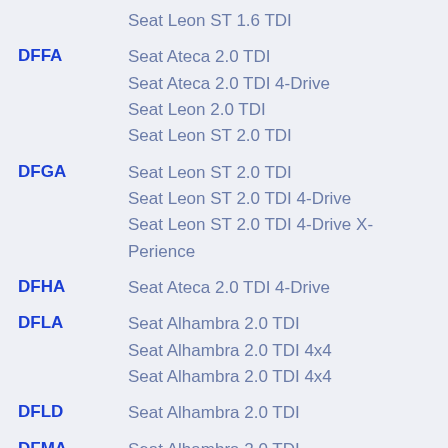Seat Leon ST 1.6 TDI
DFFA  Seat Ateca 2.0 TDI / Seat Ateca 2.0 TDI 4-Drive / Seat Leon 2.0 TDI / Seat Leon ST 2.0 TDI
DFGA  Seat Leon ST 2.0 TDI / Seat Leon ST 2.0 TDI 4-Drive / Seat Leon ST 2.0 TDI 4-Drive X-Perience
DFHA  Seat Ateca 2.0 TDI 4-Drive
DFLA  Seat Alhambra 2.0 TDI / Seat Alhambra 2.0 TDI 4x4 / Seat Alhambra 2.0 TDI 4x4
DFLD  Seat Alhambra 2.0 TDI
DFMA  Seat Alhambra 2.0 TDI / Seat Alhambra 2.0 TDI 4x4